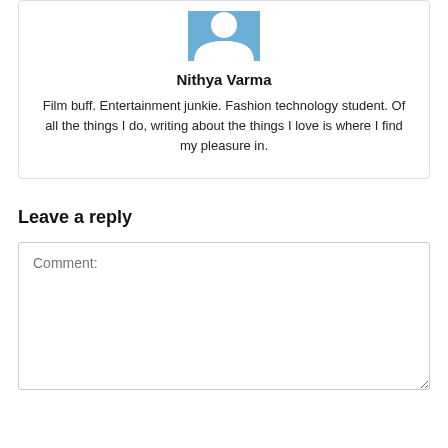[Figure (illustration): Partial view of a blue avatar icon with a white person silhouette, cropped at the top]
Nithya Varma
Film buff. Entertainment junkie. Fashion technology student. Of all the things I do, writing about the things I love is where I find my pleasure in.
Leave a reply
Comment: